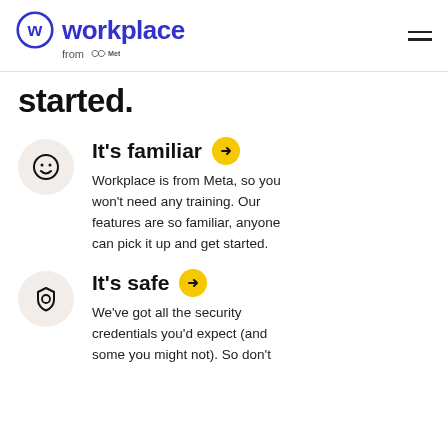Workplace from Meta
started.
It's familiar
Workplace is from Meta, so you won't need any training. Our features are so familiar, anyone can pick it up and get started.
It's safe
We've got all the security credentials you'd expect (and some you might not). So don't